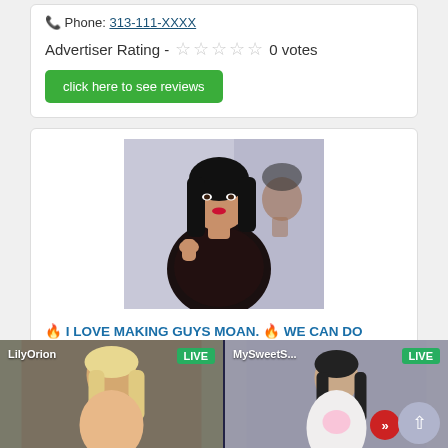Phone: 313-111-XXXX
Advertiser Rating - ☆☆☆☆☆ 0 votes
click here to see reviews
[Figure (photo): Photo of a dark-haired woman in black lace dress]
🔥 I LOVE MAKING GUYS MOAN. 🔥 WE CAN DO ANYTHING YOU WANT WITH NO RUSH OR RESTRICTIONS.🔞
Posted in: Female Escorts
Saginaw ·Michigan New User
[Figure (screenshot): Live cam advertisement banner with two panels: LilyOrion (LIVE) and MySweetS... (LIVE), with a red forward arrow button and a scroll-to-top button]